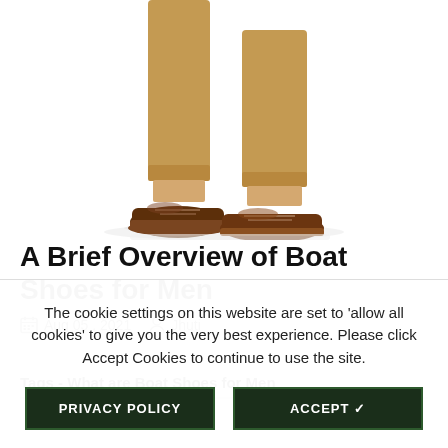[Figure (photo): Photo of a person's legs wearing brown boat shoes and tan/khaki rolled-up trousers, walking against a white background.]
A Brief Overview of Boat Shoes for Men
Aug 05 , 2021   Jhuti
Tags - What are Boat Shoes for Men
The cookie settings on this website are set to 'allow all cookies' to give you the very best experience. Please click Accept Cookies to continue to use the site.